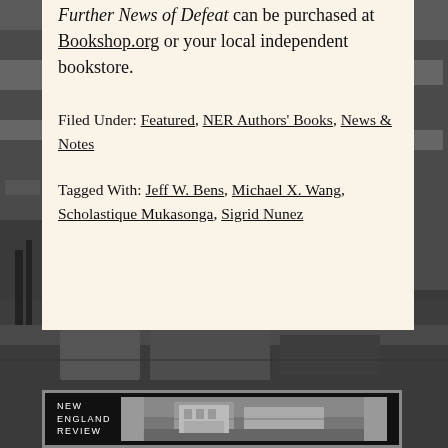Further News of Defeat can be purchased at Bookshop.org or your local independent bookstore.
Filed Under: Featured, NER Authors' Books, News & Notes
Tagged With: Jeff W. Bens, Michael X. Wang, Scholastique Mukasonga, Sigrid Nunez
[Figure (photo): Grayscale background photo of a building/street scene with dark tones, partially visible behind the cream content box and the bottom New England Review banner.]
[Figure (logo): New England Review banner/logo in black with white text and a grayscale building photograph inset.]